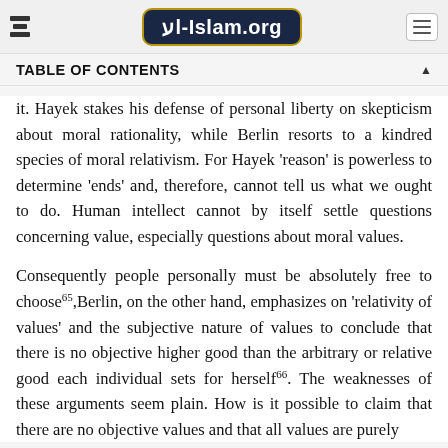Al-Islam.org
TABLE OF CONTENTS
it. Hayek stakes his defense of personal liberty on skepticism about moral rationality, while Berlin resorts to a kindred species of moral relativism. For Hayek 'reason' is powerless to determine 'ends' and, therefore, cannot tell us what we ought to do. Human intellect cannot by itself settle questions concerning value, especially questions about moral values.
Consequently people personally must be absolutely free to choose⁶⁵,Berlin, on the other hand, emphasizes on 'relativity of values' and the subjective nature of values to conclude that there is no objective higher good than the arbitrary or relative good each individual sets for herself⁶⁶. The weaknesses of these arguments seem plain. How is it possible to claim that there are no objective values and that all values are purely subjective, and yet simultaneously state that we should